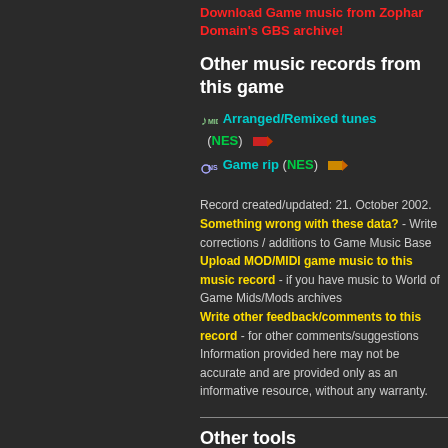Download Game music from Zophar Domain's GBS archive!
Other music records from this game
Arranged/Remixed tunes (NES)
Game rip (NES)
Record created/updated: 21. October 2002. Something wrong with these data? - Write corrections / additions to Game Music Base Upload MOD/MIDI game music to this music record - if you have music to World of Game Mids/Mods archives Write other feedback/comments to this record - for other comments/suggestions Information provided here may not be accurate and are provided only as an informative resource, without any warranty.
Other tools
Generate info.txt - with this cool feature you can generate the info.txt file